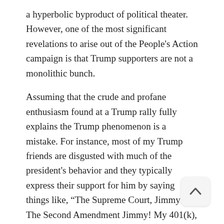a hyperbolic byproduct of political theater. However, one of the most significant revelations to arise out of the People's Action campaign is that Trump supporters are not a monolithic bunch.
Assuming that the crude and profane enthusiasm found at a Trump rally fully explains the Trump phenomenon is a mistake. For instance, most of my Trump friends are disgusted with much of the president's behavior and they typically express their support for him by saying things like, “The Supreme Court, Jimmy! The Second Amendment Jimmy! My 401(k), Jimmy!” When the conversation turns to the trashy language of a Trump T-shirt, they tend to change the subject.
My point here is that Trump has struck a nerve with a lot of different people with a lot of different complaints and People's Action is tapping into that diversity.
Some of the following exhibit inspired to connect with